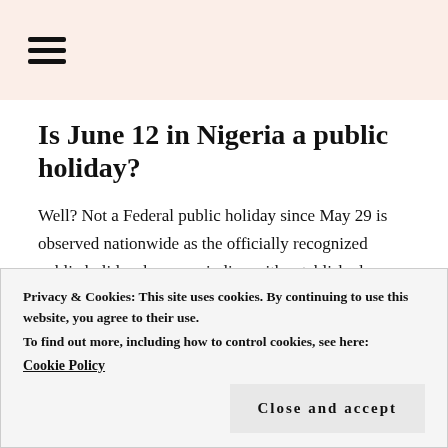☰ (hamburger menu icon)
Is June 12 in Nigeria a public holiday?
Well? Not a Federal public holiday since May 29 is observed nationwide as the officially recognized public holiday, however in line with established policies and procedures in certain states in the country. June 12 in Nigeria is observed as a
Privacy & Cookies: This site uses cookies. By continuing to use this website, you agree to their use.
To find out more, including how to control cookies, see here:
Cookie Policy
Close and accept